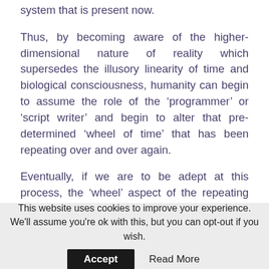system that is present now.
Thus, by becoming aware of the higher-dimensional nature of reality which supersedes the illusory linearity of time and biological consciousness, humanity can begin to assume the role of the ‘programmer’ or ‘script writer’ and begin to alter that pre-determined ‘wheel of time’ that has been repeating over and over again.
Eventually, if we are to be adept at this process, the ‘wheel’ aspect of the repeating variables could be overcome altogether and the ‘projected
This website uses cookies to improve your experience. We’ll assume you’re ok with this, but you can opt-out if you wish. Accept Read More